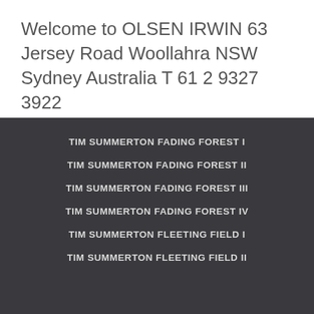Welcome to OLSEN IRWIN 63 Jersey Road Woollahra NSW Sydney Australia T 61 2 9327 3922
TIM SUMMERTON FADING FOREST I
TIM SUMMERTON FADING FOREST II
TIM SUMMERTON FADING FOREST III
TIM SUMMERTON FADING FOREST IV
TIM SUMMERTON FLEETING FIELD I
TIM SUMMERTON FLEETING FIELD II